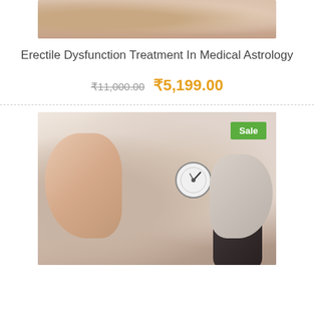[Figure (photo): Close-up photo of hands (partial, cropped at top of page)]
Erectile Dysfunction Treatment In Medical Astrology
₹11,000.00 ₹5,199.00
[Figure (photo): Doctor measuring patient's blood pressure with a sphygmomanometer; close-up of hands and cuff. Sale badge in top-right corner.]